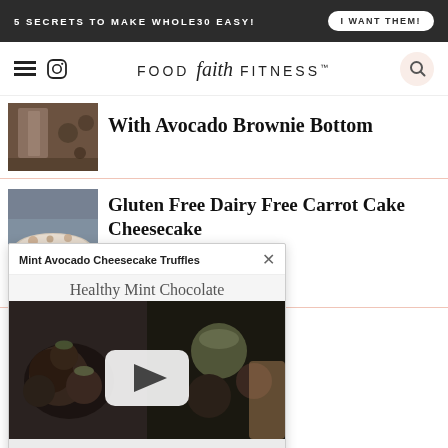5 SECRETS TO MAKE WHOLE30 EASY! | I WANT THEM!
FOOD faith FITNESS™
With Avocado Brownie Bottom
Gluten Free Dairy Free Carrot Cake Cheesecake
Mint Avocado Cheesecake Truffles
Healthy Mint Chocolate
lo Chocolate
Chip Cheesecake Bites